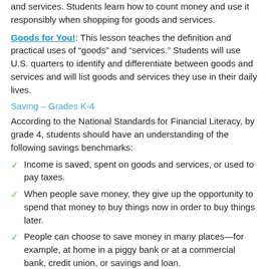and services. Students learn how to count money and use it responsibly when shopping for goods and services.
Goods for You!: This lesson teaches the definition and practical uses of “goods” and “services.” Students will use U.S. quarters to identify and differentiate between goods and services and will list goods and services they use in their daily lives.
Saving – Grades K-4
According to the National Standards for Financial Literacy, by grade 4, students should have an understanding of the following savings benchmarks:
Income is saved, spent on goods and services, or used to pay taxes.
When people save money, they give up the opportunity to spend that money to buy things now in order to buy things later.
People can choose to save money in many places—for example, at home in a piggy bank or at a commercial bank, credit union, or savings and loan.